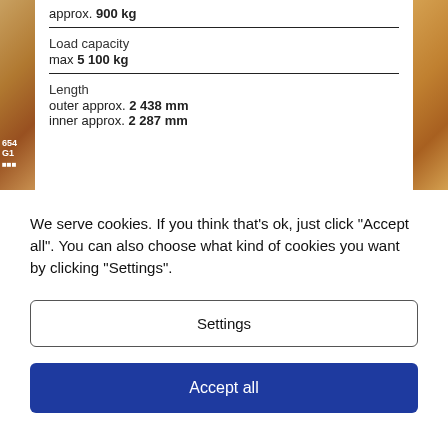approx. 900 kg
Load capacity
max 5 100 kg
Length
outer approx. 2 438 mm
inner approx. 2 287 mm
We serve cookies. If you think that's ok, just click "Accept all". You can also choose what kind of cookies you want by clicking "Settings".
Settings
Accept all